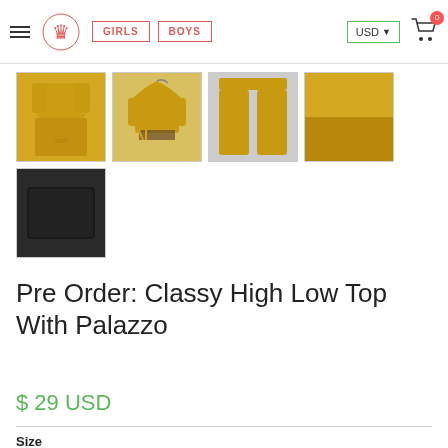GIRLS | BOYS | USD | Cart 0
[Figure (photo): Four product thumbnail images of a mustard/gold high-low top with palazzo set for girls, showing full outfit, top on hanger, palazzo pants, and fabric close-up]
[Figure (photo): One thumbnail image showing a dark navy/black fabric swatch or clutch]
Pre Order: Classy High Low Top With Palazzo
$ 29 USD
Size